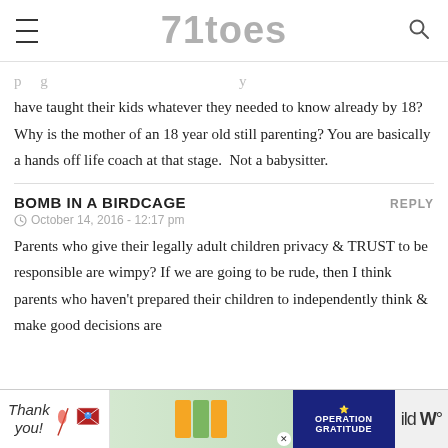71toes
have taught their kids whatever they needed to know already by 18? Why is the mother of an 18 year old still parenting? You are basically a hands off life coach at that stage. Not a babysitter.
BOMB IN A BIRDCAGE
October 14, 2016 - 12:17 pm
Parents who give their legally adult children privacy & TRUST to be responsible are wimpy? If we are going to be rude, then I think parents who haven't prepared their children to independently think & make good decisions are